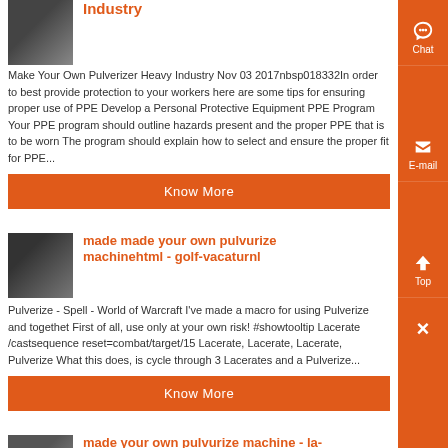Industry
Make Your Own Pulverizer Heavy Industry Nov 03 2017nbsp018332In order to best provide protection to your workers here are some tips for ensuring proper use of PPE Develop a Personal Protective Equipment PPE Program Your PPE program should outline hazards present and the proper PPE that is to be worn The program should explain how to select and ensure the proper fit for PPE...
Know More
made made your own pulvurize machinehtml - golf-vacaturnl
Pulverize - Spell - World of Warcraft I've made a macro for using Pulverize and togethet First of all, use only at your own risk! #showtooltip Lacerate /castsequence reset=combat/target/15 Lacerate, Lacerate, Lacerate, Pulverize What this does, is cycle through 3 Lacerates and a Pulverize...
Know More
made your own pulvurize machine - la-